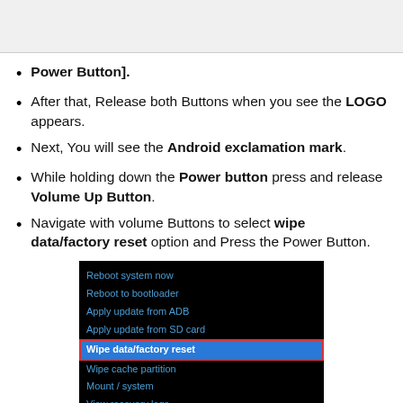Power Button].
After that, Release both Buttons when you see the LOGO appears.
Next, You will see the Android exclamation mark.
While holding down the Power button press and release Volume Up Button.
Navigate with volume Buttons to select wipe data/factory reset option and Press the Power Button.
[Figure (screenshot): Android recovery menu screenshot showing options: Reboot system now, Reboot to bootloader, Apply update from ADB, Apply update from SD card, Wipe data/factory reset (highlighted in blue with red border), Wipe cache partition, Mount / system, View recovery logs, Run graphics test]